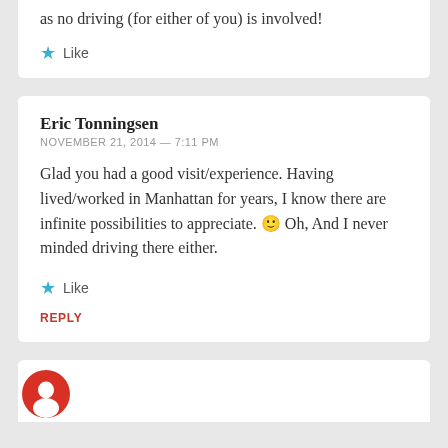as no driving (for either of you) is involved!
Like
Eric Tonningsen
NOVEMBER 21, 2014 — 7:11 PM
Glad you had a good visit/experience. Having lived/worked in Manhattan for years, I know there are infinite possibilities to appreciate. 🙂 Oh, And I never minded driving there either.
Like
REPLY